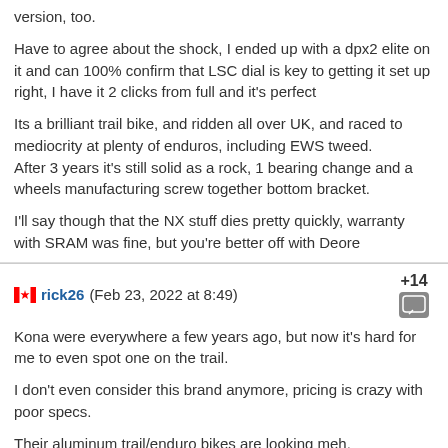version, too.
Have to agree about the shock, I ended up with a dpx2 elite on it and can 100% confirm that LSC dial is key to getting it set up right, I have it 2 clicks from full and it's perfect
Its a brilliant trail bike, and ridden all over UK, and raced to mediocrity at plenty of enduros, including EWS tweed.
After 3 years it's still solid as a rock, 1 bearing change and a wheels manufacturing screw together bottom bracket.
I'll say though that the NX stuff dies pretty quickly, warranty with SRAM was fine, but you're better off with Deore
rick26 (Feb 23, 2022 at 8:49) +14
Kona were everywhere a few years ago, but now it's hard for me to even spot one on the trail.
I don't even consider this brand anymore, pricing is crazy with poor specs.
Their aluminum trail/enduro bikes are looking meh.
Daddybear (Feb 24, 2022 at 1:02) +1